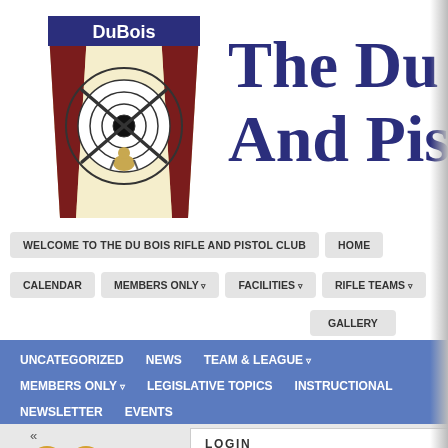[Figure (logo): DuBois Rifle and Pistol Club logo: Pennsylvania keystone shape with maroon and cream stripes, crossed rifles in a target circle, 'DuBois' text at top]
The Du... And Pis...
WELCOME TO THE DU BOIS RIFLE AND PISTOL CLUB
HOME
CALENDAR
MEMBERS ONLY ▾
FACILITIES ▾
RIFLE TEAMS ▾
GALLERY
UNCATEGORIZED
NEWS
TEAM & LEAGUE ▾
MEMBERS ONLY ▾
LEGISLATIVE TOPICS
INSTRUCTIONAL
NEWSLETTER
EVENTS
LOGIN
Username